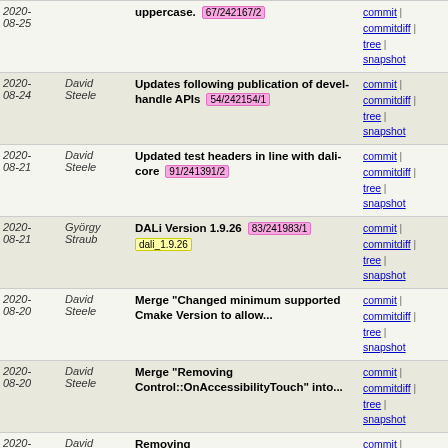| Date | Author | Message | Links |
| --- | --- | --- | --- |
| 2020-08-25 |  | uppercase. 67/242167/2 | commit | commitdiff | tree | snapshot |
| 2020-08-24 | David Steele | Updates following publication of devel-handle APIs 54/242154/1 | commit | commitdiff | tree | snapshot |
| 2020-08-21 | David Steele | Updated test headers in line with dali-core 91/241391/2 | commit | commitdiff | tree | snapshot |
| 2020-08-21 | György Straub | DALi Version 1.9.26 83/241983/1 dali_1.9.26 | commit | commitdiff | tree | snapshot |
| 2020-08-20 | David Steele | Merge "Changed minimum supported Cmake Version to allow... | commit | commitdiff | tree | snapshot |
| 2020-08-20 | David Steele | Merge "Removing Control::OnAccessibilityTouch" into... | commit | commitdiff | tree | snapshot |
| 2020-08-20 | David Steele | Removing Control::OnAccessibilityTouch 30/241130/3 | commit | commitdiff | tree | snapshot |
| 2020-08-20 | Joogab Yun | There is a problem that ellipsis does not work properly... 21/241421/1 | commit | commitdiff | tree | snapshot |
| 2020-08-19 | Adeel Kazmi | Changed minimum supported Cmake Version to allow C... 94/241394/1 | commit | commitdiff | tree | snapshot |
| 2020-08-19 | Richard Huang | WheelEvent class pimpling 58/241358/2 | commit | commitdiff | tree | snapshot |
| 2020-08- | Adeel | Change to C++14 Support 1?/241?1?/1 | commit |